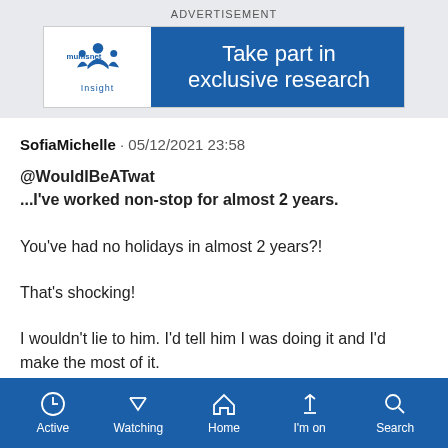ADVERTISEMENT
[Figure (illustration): Mumsnet Insight advertisement banner: white left panel with mumsnet logo and 'Insight' text, blue right panel with text 'Take part in exclusive research']
SofiaMichelle · 05/12/2021 23:58
@WouldIBeATwat
...I've worked non-stop for almost 2 years.

You've had no holidays in almost 2 years?!

That's shocking!

I wouldn't lie to him. I'd tell him I was doing it and I'd make the most of it.
Active  Watching  Home  I'm on  Search